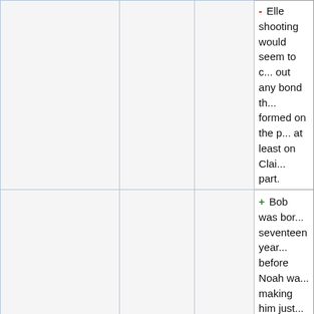|  |  |  | - Elle shooting would seem to cut out any bond that formed on the p... at least on Clair... part. |
|  |  |  | + Bob was born seventeen year... before Noah wa... making him just... enough to be N... father.

+ Elle's mother... unmentioned, p... the supposed connection betw... Elle and Claire... is her half-aunt. |